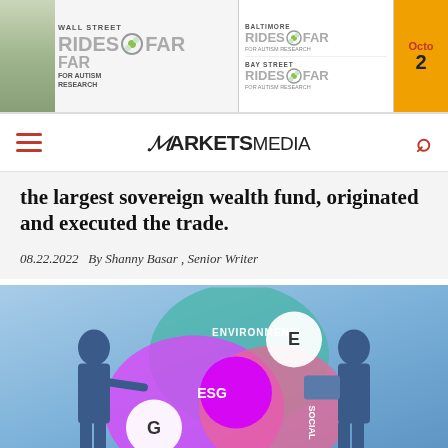[Figure (photo): Banner advertisement for Wall Street Rides Far for Autism Research, Baltimore Rides Far, Bay Street Rides Far, with October date shown]
MARKETS MEDIA
the largest sovereign wealth fund, originated and executed the trade.
08.22.2022   By Shanny Basar , Senior Writer
[Figure (photo): ESG concept diagram showing interconnected circles labeled Environment (E), Social, Governance (G), and ESG in center, with two businessmen on either side]